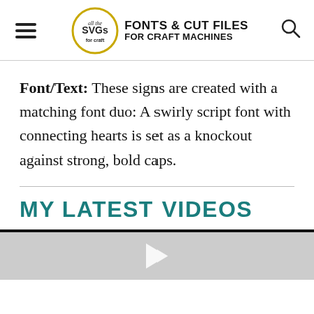all the SVGs · FONTS & CUT FILES FOR CRAFT MACHINES
Font/Text: These signs are created with a matching font duo: A swirly script font with connecting hearts is set as a knockout against strong, bold caps.
MY LATEST VIDEOS
[Figure (screenshot): Video thumbnail placeholder with grey background and white play button icon]